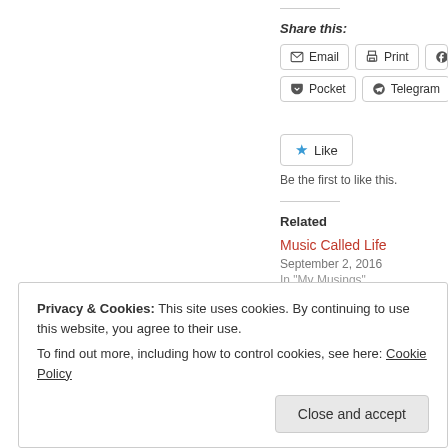Share this:
Email  Print  Fa...  Pocket  Telegram  ...
Like  Be the first to like this.
Related
Music Called Life
September 2, 2016
In "My Musings"
Privacy & Cookies: This site uses cookies. By continuing to use this website, you agree to their use.
To find out more, including how to control cookies, see here: Cookie Policy
Close and accept